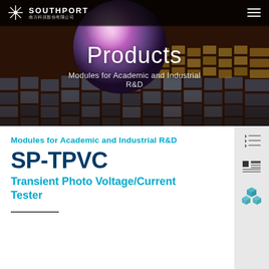[Figure (photo): Hero banner showing a dark background with colorful tiles/squares and a large reflective sphere with purple/pink hues. Southport company logo and navigation bar overlay at top.]
Products
Modules for Academic and Industrial R&D
Modules for Academic and Industrial R&D
SP-TPVC
Transient Photo Voltage/Current Tester